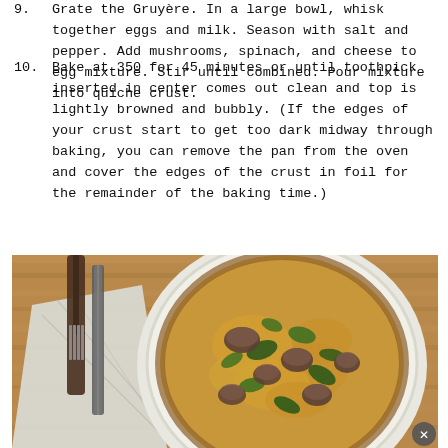9. Grate the Gruyère. In a large bowl, whisk together eggs and milk. Season with salt and pepper. Add mushrooms, spinach, and cheese to egg mixture. Stir until combined. Pour mixture into quiche crust.
10. Bake at 350 for 45 minutes or until toothpick inserted in center comes out clean and top is lightly browned and bubbly. (If the edges of your crust start to get too dark midway through baking, you can remove the pan from the oven and cover the edges of the crust in foil for the remainder of the baking time.)
[Figure (photo): Overhead photo of a mushroom and spinach quiche in a white ceramic dish on a wooden table, with a fork, knife, and linen napkin to the left.]